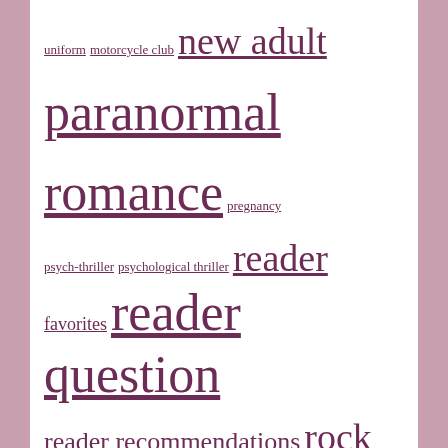uniform motorcycle club new adult
paranormal romance pregnancy
psych-thriller psychological thriller reader favorites reader question
reader recommendations rock stars
second chance romance shifters solved sports
stars super-angsty unrequited love unsolved
urban fantasy vampires YA
CATEGORIES
Adrian Phoenix
Alexandra Ivy